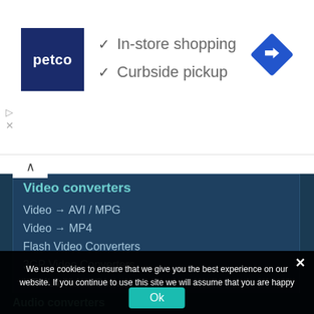[Figure (screenshot): Petco advertisement banner with logo, checkmarks for In-store shopping and Curbside pickup, and a blue directions icon]
✓ In-store shopping
✓ Curbside pickup
Video converters
Video → AVI / MPG
Video → MP4
Flash Video Converters
3GP Video Converters
HTML5 Video Converters
We use cookies to ensure that we give you the best experience on our website. If you continue to use this site we will assume that you are happy with it.